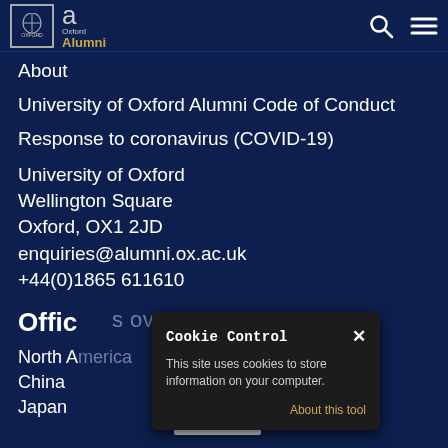University of Oxford Alumni - header with logo, search and menu icons
About
University of Oxford Alumni Code of Conduct
Response to coronavirus (COVID-19)
University of Oxford
Wellington Square
Oxford, OX1 2JD
enquiries@alumni.ox.ac.uk
+44(0)1865 611610
Offices overseas
North America
China
Japan
[Figure (screenshot): Cookie Control popup dialog with title 'Cookie Control', close X button, text 'This site uses cookies to store information on your computer.', an 'About this tool' link in amber/gold color, and a 'read more' button below]